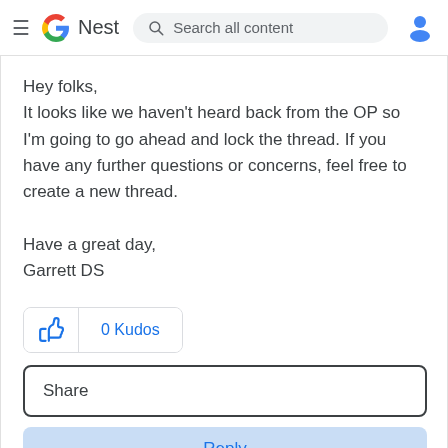≡ G Nest  Search all content
Hey folks,
It looks like we haven't heard back from the OP so I'm going to go ahead and lock the thread. If you have any further questions or concerns, feel free to create a new thread.

Have a great day,
Garrett DS